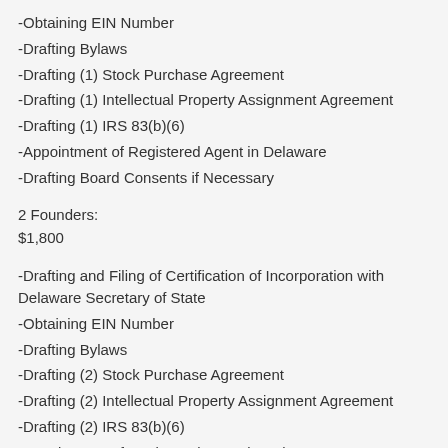-Obtaining EIN Number
-Drafting Bylaws
-Drafting (1) Stock Purchase Agreement
-Drafting (1) Intellectual Property Assignment Agreement
-Drafting (1) IRS 83(b)(6)
-Appointment of Registered Agent in Delaware
-Drafting Board Consents if Necessary
2 Founders:
$1,800
-Drafting and Filing of Certification of Incorporation with Delaware Secretary of State
-Obtaining EIN Number
-Drafting Bylaws
-Drafting (2) Stock Purchase Agreement
-Drafting (2) Intellectual Property Assignment Agreement
-Drafting (2) IRS 83(b)(6)
-Appointment of Registered Agent in Delaware